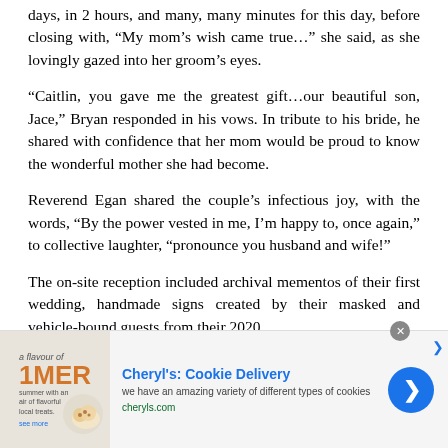days, in 2 hours, and many, many minutes for this day, before closing with, “My mom’s wish came true…” she said, as she lovingly gazed into her groom’s eyes.
“Caitlin, you gave me the greatest gift…our beautiful son, Jace,” Bryan responded in his vows. In tribute to his bride, he shared with confidence that her mom would be proud to know the wonderful mother she had become.
Reverend Egan shared the couple’s infectious joy, with the words, “By the power vested in me, I’m happy to, once again,” to collective laughter, “pronounce you husband and wife!”
The on-site reception included archival mementos of their first wedding, handmade signs created by their masked and vehicle-bound guests from their 2020
[Figure (other): Advertisement banner for Cheryl's Cookie Delivery. Shows brand logo, image of cookies, headline 'Cheryl's: Cookie Delivery', tagline 'we have an amazing variety of different types of cookies', URL 'cheryls.com', and a blue circular arrow button.]